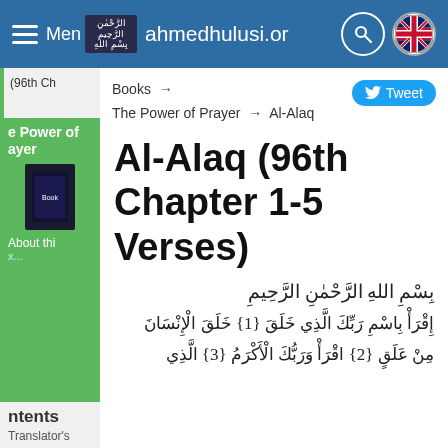Menu | ahmedhulusi.or
Books → The Power of Prayer → Al-Alaq (96th Ch
Tweet
Al-Alaq (96th Chapter 1-5 Verses)
بِسْمِ اللهِ الرَّحْمٰنِ الرَّحِيمِ
إِقْرَأْ بِاسْمِ رَبِّكَ الَّذِي خَلَقَ {1} خَلَقَ الْإِنْسَانَ مِنْ عَلَقٍ {2} اقْرَأْ وَرَبُّكَ الْأَكْرَمُ {3} الَّذِي
ntents
Translator's